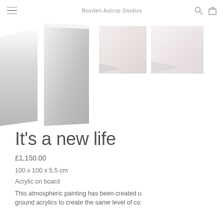Royden Astrop Studios
[Figure (photo): Four thumbnail images of an abstract painting on board. Left two show angled 3D views of the artwork with grey/white tones. Right two show square flat close-up views of the same painting surface in pale pink/grey tones.]
It's a new life
£1,150.00
100 x 100 x 5.5 cm
Acrylic on board
This atmospheric painting has been created u ground acrylics to create the same level of co